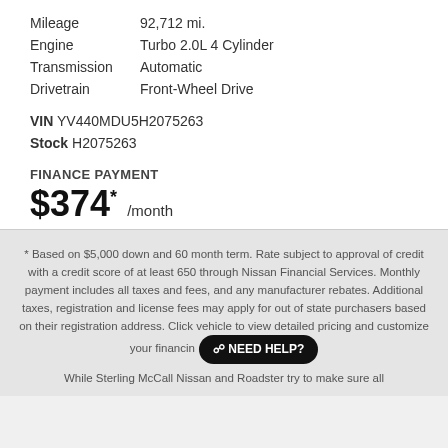Mileage	92,712 mi.
Engine	Turbo 2.0L 4 Cylinder
Transmission	Automatic
Drivetrain	Front-Wheel Drive
VIN YV440MDU5H2075263
Stock H2075263
FINANCE PAYMENT
$374* /month
* Based on $5,000 down and 60 month term. Rate subject to approval of credit with a credit score of at least 650 through Nissan Financial Services. Monthly payment includes all taxes and fees, and any manufacturer rebates. Additional taxes, registration and license fees may apply for out of state purchasers based on their registration address. Click vehicle to view detailed pricing and customize your financing
While Sterling McCall Nissan and Roadster try to make sure all